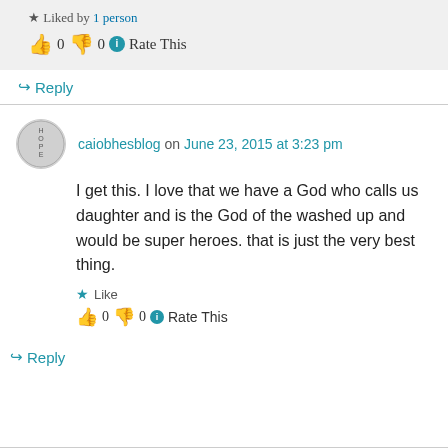★ Liked by 1 person
👍 0 👎 0 ℹ Rate This
↳ Reply
caiobhesblog on June 23, 2015 at 3:23 pm
I get this. I love that we have a God who calls us daughter and is the God of the washed up and would be super heroes. that is just the very best thing.
★ Like
👍 0 👎 0 ℹ Rate This
↳ Reply